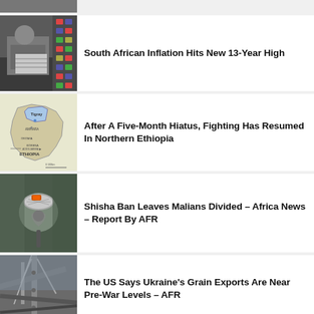[Figure (photo): Partial news thumbnail at top of page (cropped)]
South African Inflation Hits New 13-Year High
[Figure (photo): Person sitting reading a newspaper against a wall]
After A Five-Month Hiatus, Fighting Has Resumed In Northern Ethiopia
[Figure (map): Map of Ethiopia showing Tigray region]
Shisha Ban Leaves Malians Divided – Africa News – Report By AFR
[Figure (photo): Close-up of a shisha pipe with foil and coals]
The US Says Ukraine's Grain Exports Are Near Pre-War Levels – AFR
[Figure (photo): Industrial crane or port equipment close-up]